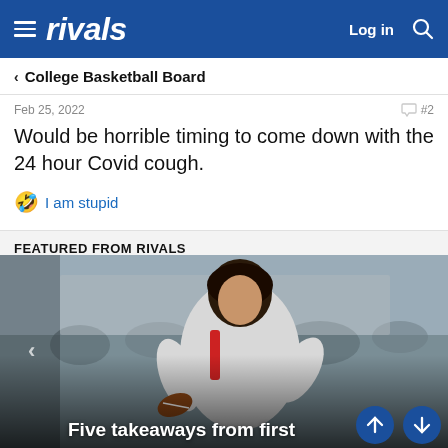rivals
College Basketball Board
Feb 25, 2022   #2
Would be horrible timing to come down with the 24 hour Covid cough.
🤣 I am stupid
FEATURED FROM RIVALS
[Figure (photo): Football player throwing a pass, young man with dark curly hair in a white long-sleeve jersey, crowd in background]
Five takeaways from first